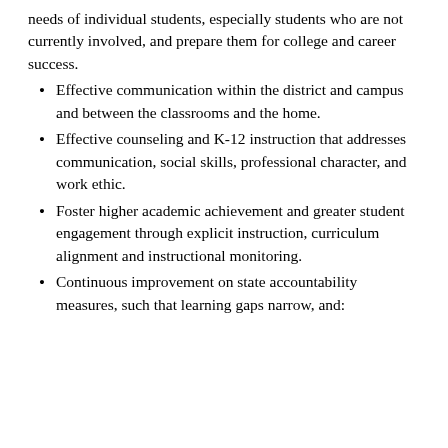needs of individual students, especially students who are not currently involved, and prepare them for college and career success.
Effective communication within the district and campus and between the classrooms and the home.
Effective counseling and K-12 instruction that addresses communication, social skills, professional character, and work ethic.
Foster higher academic achievement and greater student engagement through explicit instruction, curriculum alignment and instructional monitoring.
Continuous improvement on state accountability measures, such that learning gaps narrow, and: